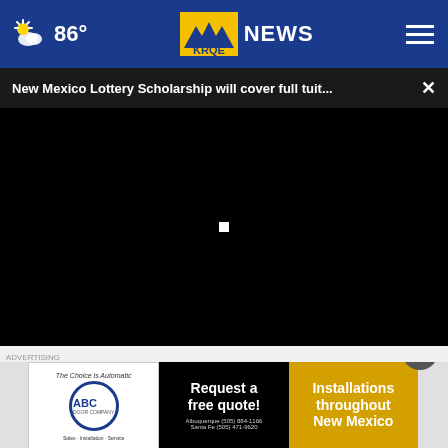86° KRQE NEWS
New Mexico Lottery Scholarship will cover full tuit...
[Figure (screenshot): Black video player area with small white square indicator in center]
[Figure (screenshot): Advertisement for ABC Door Company showing three panels: ABC Door Company logo with tagline 'The Choice is Automatic', 'Request a free quote!' with Albuquerque (505) 884-1166 and Santa Fe (505) 471-9620, and 'Installations throughout New Mexico' in gold/yellow panel]